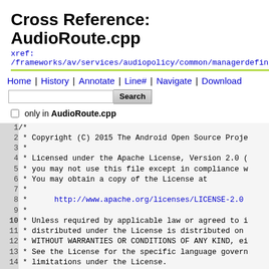Cross Reference: AudioRoute.cpp
xref:
/frameworks/av/services/audiopolicy/common/managerdefinitions/src/AudioRoute.cpp
Home | History | Annotate | Line# | Navigate | Download
Search box with only in AudioRoute.cpp checkbox
1  /*
2   * Copyright (C) 2015 The Android Open Source Proje...
3   *
4   * Licensed under the Apache License, Version 2.0 (
5   * you may not use this file except in compliance w...
6   * You may obtain a copy of the License at
7   *
8   *      http://www.apache.org/licenses/LICENSE-2.0
9   *
10  * Unless required by applicable law or agreed to i...
11  * distributed under the License is distributed on...
12  * WITHOUT WARRANTIES OR CONDITIONS OF ANY KIND, ei...
13  * See the License for the specific language govern...
14  * limitations under the License.
15  */
16
17  #define LOG_TAG "APM::AudioRoute"